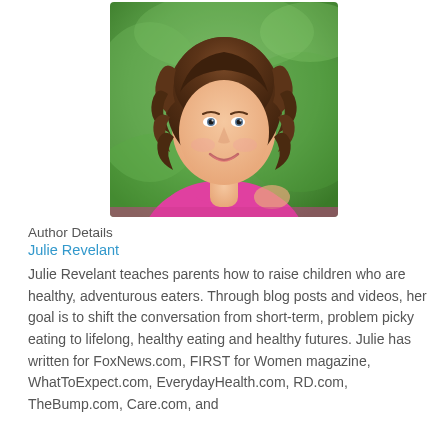[Figure (photo): Headshot of Julie Revelant, a woman with long brown curly hair, smiling, wearing a pink top, with green blurred background]
Author Details
Julie Revelant
Julie Revelant teaches parents how to raise children who are healthy, adventurous eaters. Through blog posts and videos, her goal is to shift the conversation from short-term, problem picky eating to lifelong, healthy eating and healthy futures. Julie has written for FoxNews.com, FIRST for Women magazine, WhatToExpect.com, EverydayHealth.com, RD.com, TheBump.com, Care.com, and